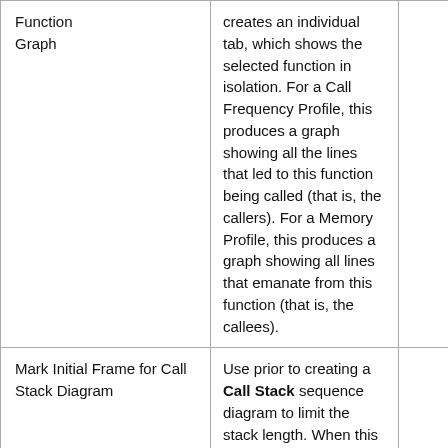|  | Description |  |
| --- | --- | --- |
| Function Graph | creates an individual tab, which shows the selected function in isolation. For a Call Frequency Profile, this produces a graph showing all the lines that led to this function being called (that is, the callers). For a Memory Profile, this produces a graph showing all lines that emanate from this function (that is, the callees). |  |
| Mark Initial Frame for Call Stack Diagram | Use prior to creating a Call Stack sequence diagram to limit the stack length. When this option is selected, the frame is marked and its text is highlighted. |  |